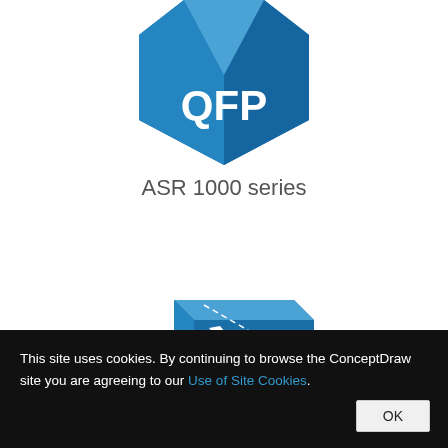[Figure (illustration): 3D blue hexagonal/octagonal box icon with white text 'QFP' — top portion visible, cropped at top edge]
ASR 1000 series
[Figure (illustration): Partial blue 3D box/shape with a white downward-right arrow on it, partially visible at bottom of white area]
This site uses cookies. By continuing to browse the ConceptDraw site you are agreeing to our Use of Site Cookies.